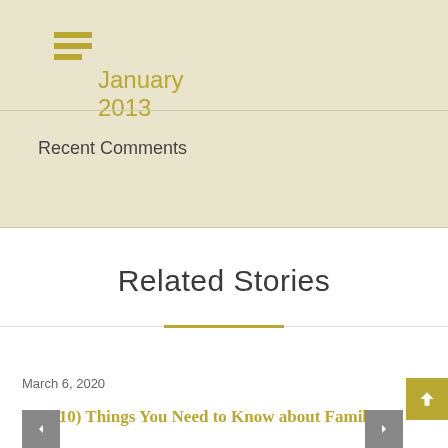January 2013
Recent Comments
Related Stories
March 6, 2020
Ten (10) Things You Need to Know about Family C...